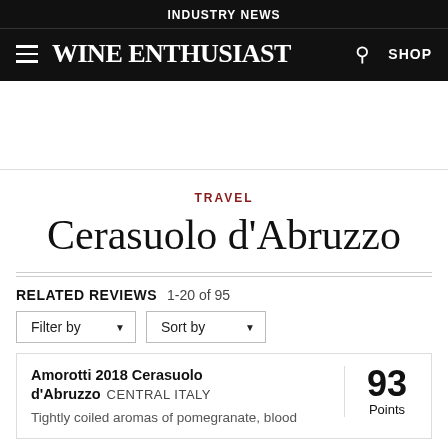INDUSTRY NEWS
Wine Enthusiast — SHOP
TRAVEL
Cerasuolo d'Abruzzo
RELATED REVIEWS 1-20 of 95
Amorotti 2018 Cerasuolo d'Abruzzo  CENTRAL ITALY
Tightly coiled aromas of pomegranate, blood  93 Points